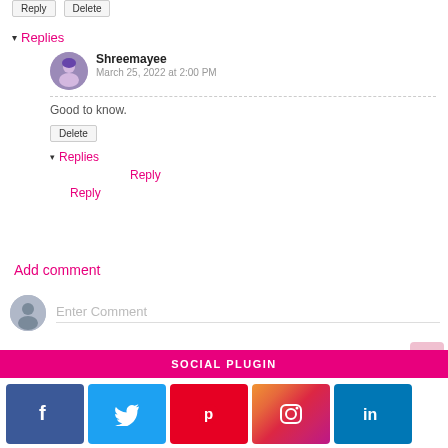Reply  Delete
▾ Replies
Shreemayee
March 25, 2022 at 2:00 PM
Good to know.
Delete
▾ Replies
Reply
Reply
Add comment
Enter Comment
SOCIAL PLUGIN
[Figure (infographic): Social media icon buttons: Facebook (blue), Twitter (light blue), Pinterest (red), Instagram (gradient), LinkedIn (blue)]